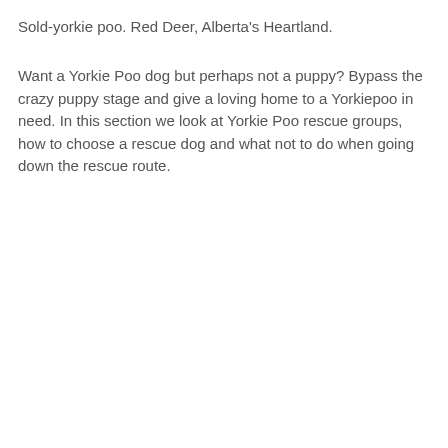Sold-yorkie poo. Red Deer, Alberta's Heartland.
Want a Yorkie Poo dog but perhaps not a puppy? Bypass the crazy puppy stage and give a loving home to a Yorkiepoo in need. In this section we look at Yorkie Poo rescue groups, how to choose a rescue dog and what not to do when going down the rescue route.